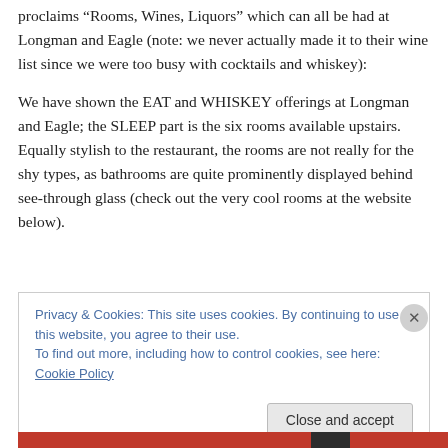proclaims “Rooms, Wines, Liquors” which can all be had at Longman and Eagle (note: we never actually made it to their wine list since we were too busy with cocktails and whiskey):
We have shown the EAT and WHISKEY offerings at Longman and Eagle; the SLEEP part is the six rooms available upstairs. Equally stylish to the restaurant, the rooms are not really for the shy types, as bathrooms are quite prominently displayed behind see-through glass (check out the very cool rooms at the website below).
Privacy & Cookies: This site uses cookies. By continuing to use this website, you agree to their use.
To find out more, including how to control cookies, see here: Cookie Policy
Close and accept